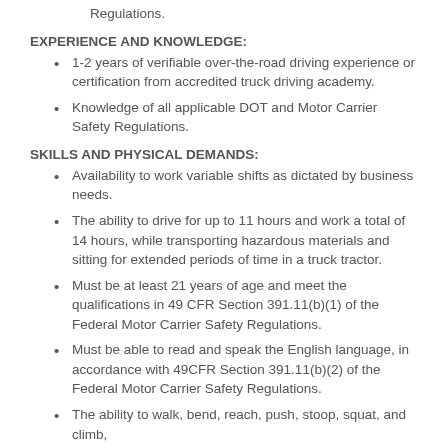Regulations.
EXPERIENCE AND KNOWLEDGE:
1-2 years of verifiable over-the-road driving experience or certification from accredited truck driving academy.
Knowledge of all applicable DOT and Motor Carrier Safety Regulations.
SKILLS AND PHYSICAL DEMANDS:
Availability to work variable shifts as dictated by business needs.
The ability to drive for up to 11 hours and work a total of 14 hours, while transporting hazardous materials and sitting for extended periods of time in a truck tractor.
Must be at least 21 years of age and meet the qualifications in 49 CFR Section 391.11(b)(1) of the Federal Motor Carrier Safety Regulations.
Must be able to read and speak the English language, in accordance with 49CFR Section 391.11(b)(2) of the Federal Motor Carrier Safety Regulations.
The ability to walk, bend, reach, push, stoop, squat, and climb,